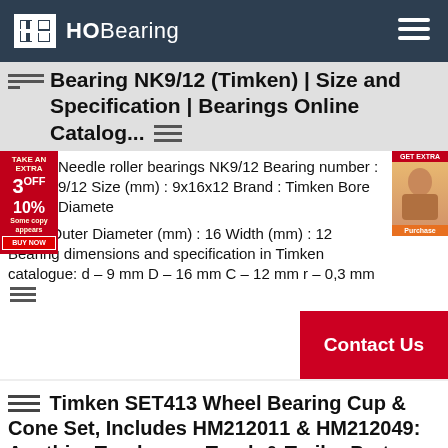HOBearing
Bearing NK9/12 (Timken) | Size and Specification | Bearings Online Catalog...
Needle roller bearings NK9/12 Bearing number : 9/12 Size (mm) : 9x16x12 Brand : Timken Bore Diameter (mm) : 9 Outer Diameter (mm) : 16 Width (mm) : 12 Bearing dimensions and specification in Timken catalogue: d - 9 mm D - 16 mm C - 12 mm r - 0,3 mm
Timken SET413 Wheel Bearing Cup & Cone Set, Includes HM212011 & HM212049: AnythingTruck.com, Truck & Trailer Parts and Accessories Warehou...
Save money and shelf space by purchasing popular combinations of wheel bearings in matched sets. This Timken bearing kit includes a HM212011 bearing cup and HM212049 bearing cone. Special Notes none Product Brand: Timken Manufacturer: Timken